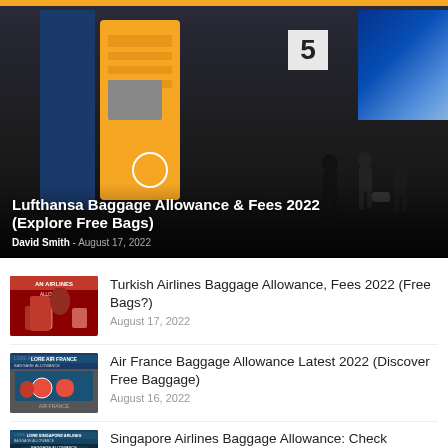[Figure (photo): Airport check-in area with Lufthansa yellow kiosk machine and blue panels, silhouettes of travelers walking, gate number 5 visible, blue digital screen on right]
Lufthansa Baggage Allowance & Fees 2022 (Explore Free Bags)
David Smith - August 17, 2022
[Figure (photo): Turkish Airlines baggage allowance thumbnail with red luggage and travelers]
Turkish Airlines Baggage Allowance, Fees 2022 (Free Bags?)
August 17, 2022
[Figure (photo): Air France baggage allowance thumbnail with blue and red luggage]
Air France Baggage Allowance Latest 2022 (Discover Free Baggage)
August 16, 2022
[Figure (photo): Singapore Airlines baggage allowance thumbnail]
Singapore Airlines Baggage Allowance: Check